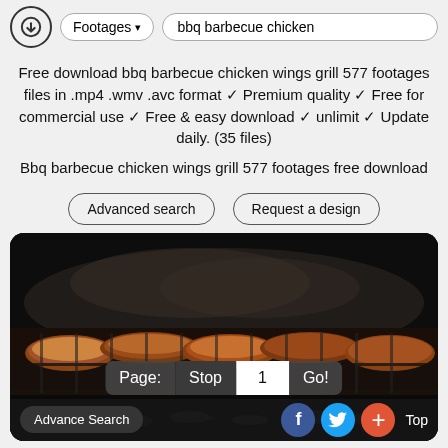Footages ▾  bbq barbecue chicken
Free download bbq barbecue chicken wings grill 577 footages files in .mp4 .wmv .avc format ✓ Premium quality ✓ Free for commercial use ✓ Free & easy download ✓ unlimit ✓ Update daily. (35 files)
Bbq barbecue chicken wings grill 577 footages free download
Advanced search   Request a design
[Figure (photo): BBQ barbecue chicken wings grilling on a grill with smoke, dark background, glowing embers below]
Page: Stop 1 Go!
Advance Search   f   [Twitter]   +   Top